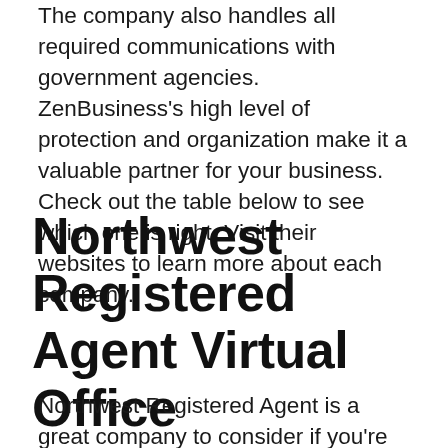The company also handles all required communications with government agencies. ZenBusiness's high level of protection and organization make it a valuable partner for your business. Check out the table below to see which one is right. Visit their websites to learn more about each company.
Northwest Registered Agent Virtual Office
Northwest Registered Agent is a great company to consider if you're looking to start a business or get your own virtual office. This company is located in the United States, and has a reputation of providing dedicated customer service. They even have